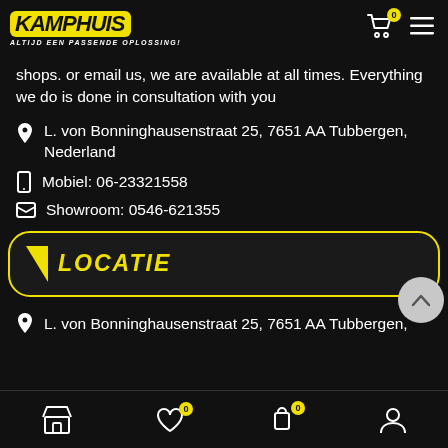Kamphuis - Altijd een passende oplossing!
shops. or email us, we are available at all times. Everything we do is done in consultation with you
L. von Bonninghausenstraat 25, 7651 AA Tubbergen, Nederland
Mobiel: 06-23321558
Showroom: 0546-621355
LOCATIE
L. von Bonninghausenstraat 25, 7651 AA Tubbergen,
Bottom navigation: store, wishlist (0), cart (0), account